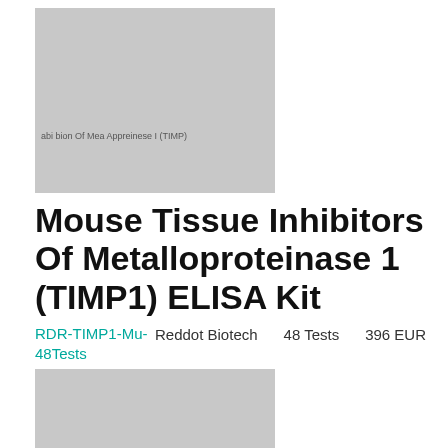[Figure (photo): Gray placeholder image for Mouse Tissue Inhibitors Of Metalloproteinase 1 (TIMP1) ELISA Kit product, with small label text at bottom left]
Mouse Tissue Inhibitors Of Metalloproteinase 1 (TIMP1) ELISA Kit
RDR-TIMP1-Mu-48Tests   Reddot Biotech   48 Tests   396 EUR
[Figure (photo): Gray placeholder image for Mouse Tissue Inhibitors Of Metalloproteinase 1 (TIMP1) ELISA Kit product, second listing]
Mouse Tissue Inhibitors Of Metalloproteinase 1 (TIMP1) ELISA Kit